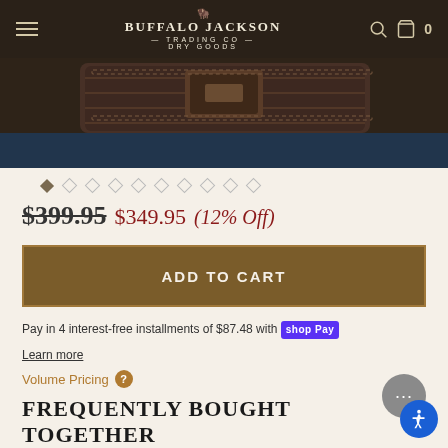Buffalo Jackson Trading Co. — Dry Goods — 0 cart items
[Figure (photo): Close-up product photo of a dark brown leather bag/saddlebag against dark background with denim visible]
$399.95 $349.95 (12% Off)
ADD TO CART
Pay in 4 interest-free installments of $87.48 with shop Pay
Learn more
Volume Pricing ?
FREQUENTLY BOUGHT TOGETHER